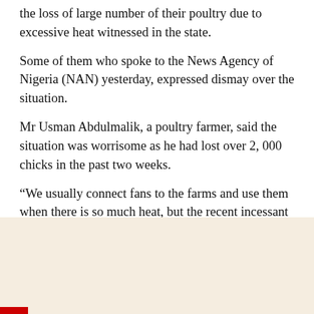Poultry farmers in Kano, have expressed worry over the loss of large number of their poultry due to excessive heat witnessed in the state.
Some of them who spoke to the News Agency of Nigeria (NAN) yesterday, expressed dismay over the situation.
Mr Usman Abdulmalik, a poultry farmer, said the situation was worrisome as he had lost over 2, 000 chicks in the past two weeks.
“We usually connect fans to the farms and use them when there is so much heat, but the recent incessant power outage has worsened the situation.